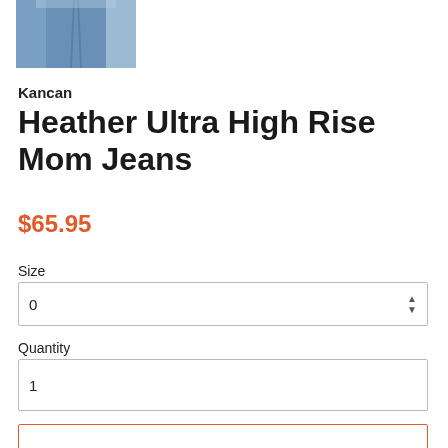[Figure (photo): Partial product photo showing blue denim jeans on a model, cropped to show lower torso/legs area]
Kancan
Heather Ultra High Rise Mom Jeans
$65.95
Size
0
Quantity
1